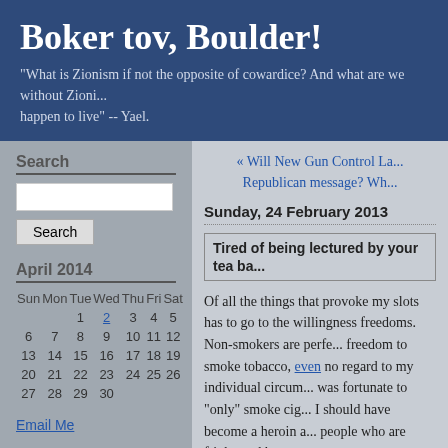Boker tov, Boulder!
"What is Zionism if not the opposite of cowardice? And what are we without Zionism... happen to live" -- Yael.
Search
April 2014
| Sun | Mon | Tue | Wed | Thu | Fri | Sat |
| --- | --- | --- | --- | --- | --- | --- |
|  |  | 1 | 2 | 3 | 4 | 5 |
| 6 | 7 | 8 | 9 | 10 | 11 | 12 |
| 13 | 14 | 15 | 16 | 17 | 18 | 19 |
| 20 | 21 | 22 | 23 | 24 | 25 | 26 |
| 27 | 28 | 29 | 30 |  |  |  |
Email Me
« Will New Gun Control La... Republican message? Wh...
Sunday, 24 February 2013
Tired of being lectured by your tea ba...
Of all the things that provoke my ... slots has to go to the willingness ... freedoms. Non-smokers are perfe... freedom to smoke tobacco, even ... no regard to my individual circum... was fortunate to "only" smoke cig... I should have become a heroin a... people who are frightened by...